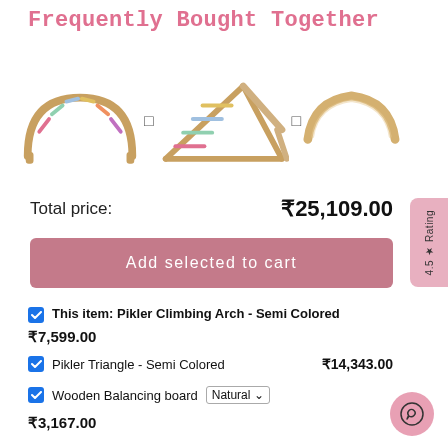Frequently Bought Together
[Figure (photo): Three wooden children's toys: Pikler Climbing Arch (semi colored), Pikler Triangle with slide (semi colored), and Wooden Balancing Board (natural), shown side by side with plus signs between them.]
Total price: ₹25,109.00
Add selected to cart
This item: Pikler Climbing Arch - Semi Colored ₹7,599.00
Pikler Triangle - Semi Colored ₹14,343.00
Wooden Balancing board Natural ₹3,167.00